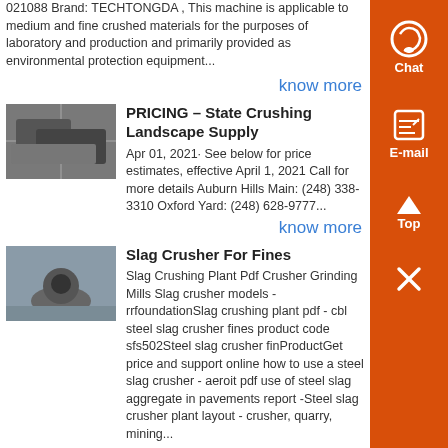021088 Brand: TECHTONGDA , This machine is applicable to medium and fine crushed materials for the purposes of laboratory and production and primarily provided as environmental protection equipment...
know more
PRICING – State Crushing Landscape Supply
Apr 01, 2021· See below for price estimates, effective April 1, 2021 Call for more details Auburn Hills Main: (248) 338-3310 Oxford Yard: (248) 628-9777...
know more
Slag Crusher For Fines
Slag Crushing Plant Pdf Crusher Grinding Mills Slag crusher models - rrfoundationSlag crushing plant pdf - cbl steel slag crusher fines product code sfs502Steel slag crusher finProductGet price and support online how to use a steel slag crusher - aeroit pdf use of steel slag aggregate in pavements report -Steel slag crusher plant layout - crusher, quarry, mining...
know more
Bulk-buy High Efficient Industrial Crusher Slag Spring ,
Bulkbuy High Efficient Industrial Crusher Slag Spring Cone Crusher Price List Manufacturer price comparison, get China High Efficient Industrial Crusher Slag Spring Cone Crusher Price List Manufacturer price comparison from Compound Cone Scrusher, Hydraulic Cone Crusher